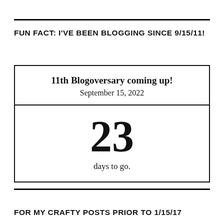FUN FACT: I'VE BEEN BLOGGING SINCE 9/15/11!
| 11th Blogoversary coming up!
September 15, 2022 |
| 23
days to go. |
FOR MY CRAFTY POSTS PRIOR TO 1/15/17